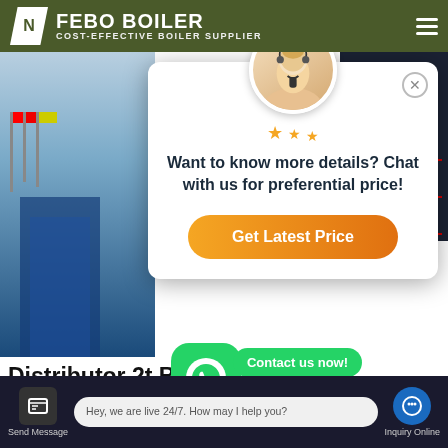FEBO BOILER — COST-EFFECTIVE BOILER SUPPLIER
[Figure (screenshot): Website screenshot showing a chat popup overlay on a boiler supplier website. The popup features a customer service representative photo, text 'Want to know more details? Chat with us for preferential price!' and an orange 'Get Latest Price' button. Below is a partial page title 'Distributor 2t Bo...' with WhatsApp contact buttons and 'Contact us now!' callouts. Bottom bar shows 'Send Message', live chat bubble 'Hey, we are live 24/7. How may I help you?', and 'Inquiry Online' button.]
Want to know more details? Chat with us for preferential price!
Get Latest Price
Distributor 2t Bo...
Contact us now!
Hey, we are live 24/7. How may I help you?
Send Message
Inquiry Online